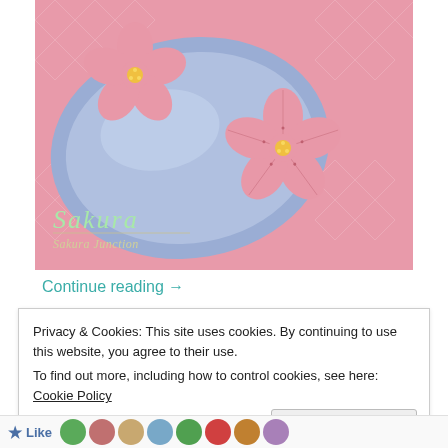[Figure (photo): Two pink sakura-shaped Japanese wagashi sweets on a blue ceramic plate, placed on a pink geometric patterned background. Text overlay reads 'Sakura' and 'Sakura Junction' in italic script.]
Continue reading →
Privacy & Cookies: This site uses cookies. By continuing to use this website, you agree to their use.
To find out more, including how to control cookies, see here: Cookie Policy
Close and accept
Like